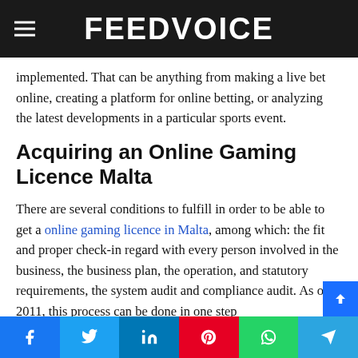FEEDVOICE
implemented. That can be anything from making a live bet online, creating a platform for online betting, or analyzing the latest developments in a particular sports event.
Acquiring an Online Gaming Licence Malta
There are several conditions to fulfill in order to be able to get a online gaming licence in Malta, among which: the fit and proper check-in regard with every person involved in the business, the business plan, the operation, and statutory requirements, the system audit and compliance audit. As of 2011, this process can be done in one step